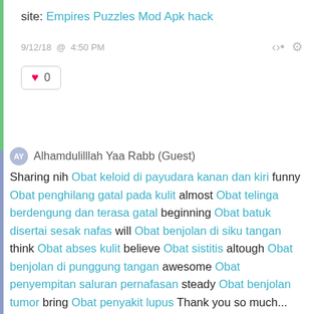site: Empires Puzzles Mod Apk hack
9/12/18  @  4:50 PM
♥ 0
AY  Alhamdulilllah Yaa Rabb (Guest)
Sharing nih Obat keloid di payudara kanan dan kiri funny Obat penghilang gatal pada kulit almost Obat telinga berdengung dan terasa gatal beginning Obat batuk disertai sesak nafas will Obat benjolan di siku tangan think Obat abses kulit believe Obat sistitis altough Obat benjolan di punggung tangan awesome Obat penyempitan saluran pernafasan steady Obat benjolan tumor bring Obat penyakit lupus Thank you so much...